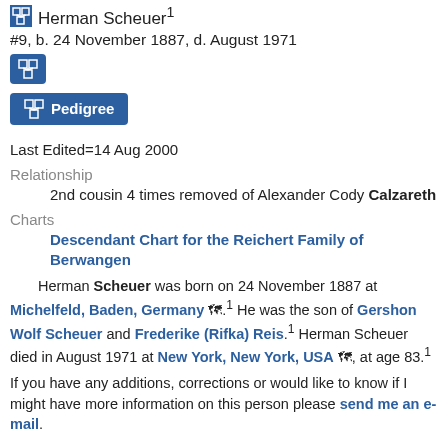Herman Scheuer¹
#9, b. 24 November 1887, d. August 1971
[Figure (other): Blue icon button (pedigree chart icon)]
Pedigree (button)
Last Edited=14 Aug 2000
Relationship
2nd cousin 4 times removed of Alexander Cody Calzareth
Charts
Descendant Chart for the Reichert Family of Berwangen
Herman Scheuer was born on 24 November 1887 at Michelfeld, Baden, Germany 🗺.¹ He was the son of Gershon Wolf Scheuer and Frederike (Rifka) Reis.¹ Herman Scheuer died in August 1971 at New York, New York, USA 🗺, at age 83.¹
If you have any additions, corrections or would like to know if I might have more information on this person please send me an e-mail.